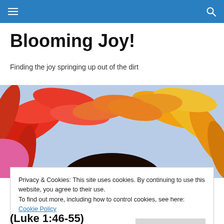Navigation bar with hamburger menu and search icon
Blooming Joy!
Finding the joy springing up out of the dirt
[Figure (photo): Close-up photograph of colorful sunflower petals in red, orange, and yellow tones against a light blue background]
Privacy & Cookies: This site uses cookies. By continuing to use this website, you agree to their use.
To find out more, including how to control cookies, see here: Cookie Policy
Close and accept
(Luke 1:46-55)